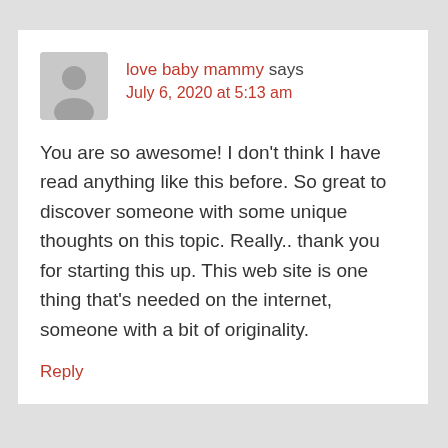love baby mammy says
July 6, 2020 at 5:13 am
You are so awesome! I don't think I have read anything like this before. So great to discover someone with some unique thoughts on this topic. Really.. thank you for starting this up. This web site is one thing that's needed on the internet, someone with a bit of originality.
Reply